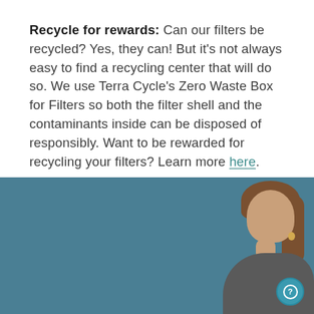Recycle for rewards: Can our filters be recycled? Yes, they can! But it's not always easy to find a recycling center that will do so. We use Terra Cycle's Zero Waste Box for Filters so both the filter shell and the contaminants inside can be disposed of responsibly. Want to be rewarded for recycling your filters? Learn more here.
[Figure (photo): A teal/blue-grey background with a partial view of a woman with long brown hair visible on the right side. A circular chat/help button is visible in the bottom right corner.]